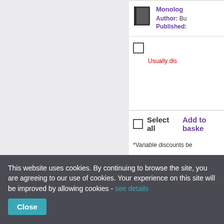[Figure (screenshot): Left grey panel of a webpage listing books]
Monolog...
Author: Bu...
Published:...
Usually dis...
Select all  Add to baske...
*Variable discounts be...
This website uses cookies. By continuing to browse the site, you are agreeing to our use of cookies. Your experience on this site will be improved by allowing cookies - see details
Close